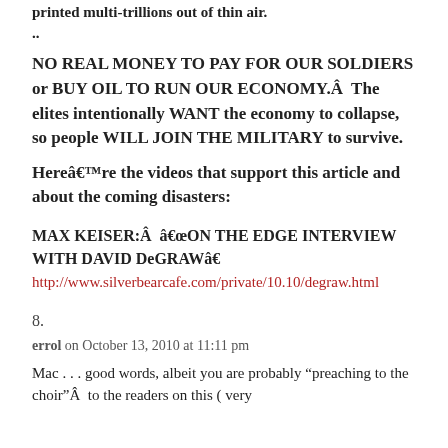printed multi-trillions out of thin air.
..
NO REAL MONEY TO PAY FOR OUR SOLDIERS or BUY OIL TO RUN OUR ECONOMY.Â  The elites intentionally WANT the economy to collapse, so people WILL JOIN THE MILITARY to survive.
Hereâre the videos that support this article and about the coming disasters:
MAX KEISER:Â  âON THE EDGE INTERVIEW WITH DAVID DeGRAWâ
http://www.silverbearcafe.com/private/10.10/degraw.html
8.
errol on October 13, 2010 at 11:11 pm
Mac . . . good words, albeit you are probably “preaching to the choir”Â  to the readers on this ( very